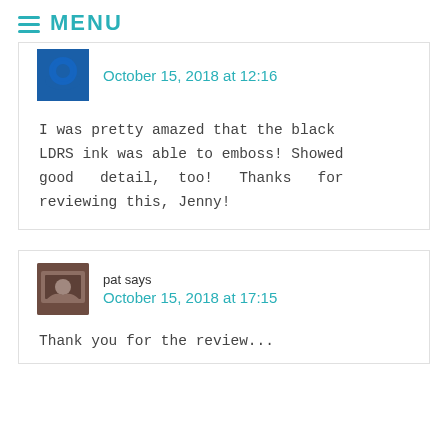MENU
October 15, 2018 at 12:16
I was pretty amazed that the black LDRS ink was able to emboss! Showed good detail, too! Thanks for reviewing this, Jenny!
pat says
October 15, 2018 at 17:15
Thank you for the review...